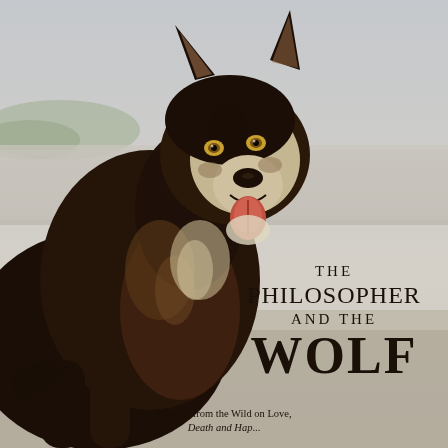[Figure (photo): Book cover photograph of a wolf (husky-like dog) standing and looking toward the camera, with an open mouth and panting tongue visible. The background shows a misty lake or sea with distant hills. The wolf has dark brown and white fur markings.]
THE PHILOSOPHER AND THE WOLF
Lessons from the Wild on Love, Death, and Happiness